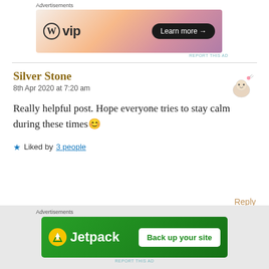[Figure (other): WordPress VIP advertisement banner with orange/purple gradient background. Shows WordPress logo, 'vip' text, and 'Learn more →' button.]
Really helpful post. Hope everyone tries to stay calm during these times 😊
Silver Stone
8th Apr 2020 at 7:20 am
Liked by 3 people
Reply
[Figure (other): Jetpack advertisement banner with green background. Shows Jetpack logo and 'Back up your site' button.]